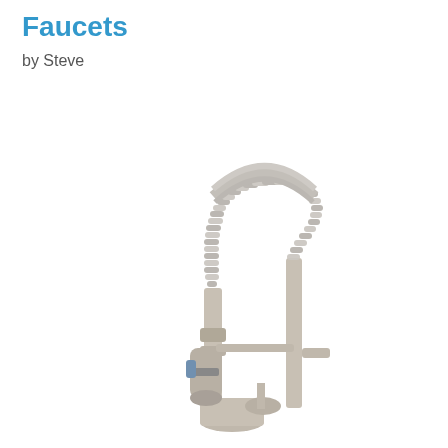Faucets
by Steve
[Figure (photo): A brushed nickel pull-down kitchen faucet with a coiled spring hose, single handle, and commercial-style design on a white background.]